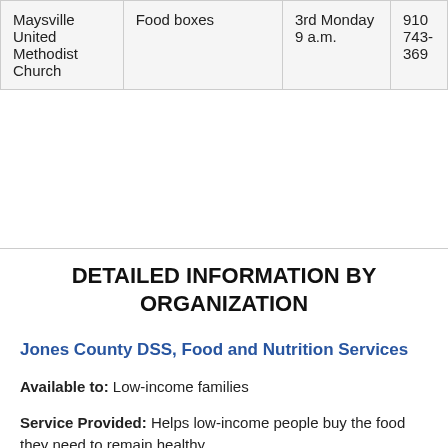| Maysville United Methodist Church | Food boxes | 3rd Monday 9 a.m. | 910 743-369 |
DETAILED INFORMATION BY ORGANIZATION
Jones County DSS, Food and Nutrition Services
Available to: Low-income families
Service Provided: Helps low-income people buy the food they need to remain healthy.